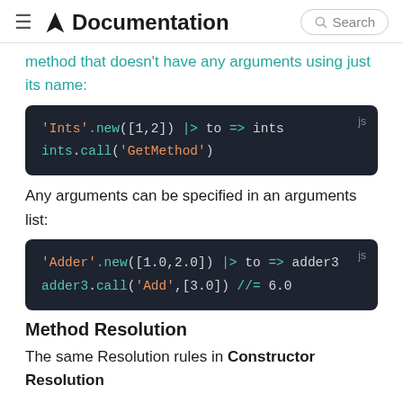Documentation  Search
method that doesn't have any arguments using just its name:
[Figure (screenshot): Code block in JS: 'Ints'.new([1,2]) |> to => ints
ints.call('GetMethod')]
Any arguments can be specified in an arguments list:
[Figure (screenshot): Code block in JS: 'Adder'.new([1.0,2.0]) |> to => adder3
adder3.call('Add',[3.0]) //= 6.0]
Method Resolution
The same Resolution rules in Constructor Resolution